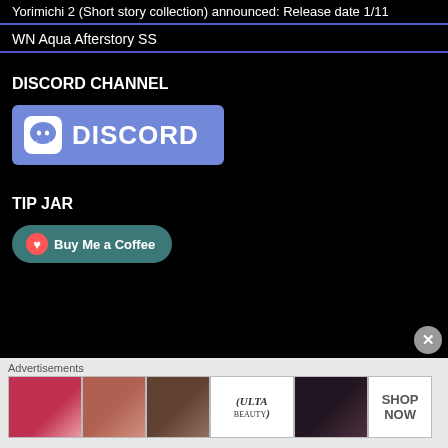Yorimichi 2 (Short story collection) announced: Release date 1/11
WN Aqua Afterstory SS
DISCORD CHANNEL
[Figure (logo): Discord logo button: purple/blue background with Discord chat bubble icon and DISCORD text in white]
TIP JAR
[Figure (logo): Buy Me a Coffee button: teal rounded rectangle with coffee cup icon and text 'Buy Me a Coffee']
Advertisements
[Figure (photo): Advertisement banner showing makeup/beauty images with ULTA logo and SHOP NOW text]